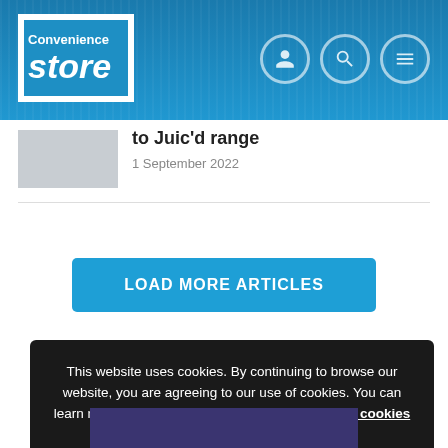Convenience Store
to Juic'd range
1 September 2022
LOAD MORE ARTICLES
This website uses cookies. By continuing to browse our website, you are agreeing to our use of cookies. You can learn more about cookies by visiting our privacy & cookies policy page.
OK